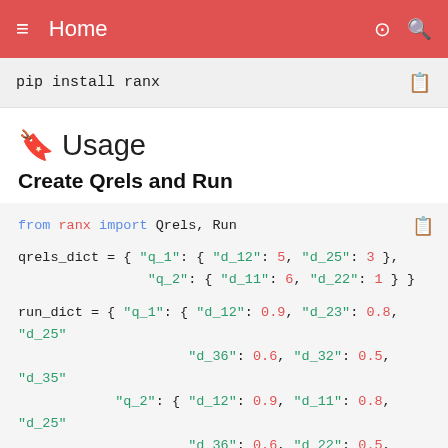≡  Home
pip install ranx
🔖 Usage
Create Qrels and Run
from ranx import Qrels, Run

qrels_dict = { "q_1": { "d_12": 5, "d_25": 3 },
               "q_2": { "d_11": 6, "d_22": 1 } }

run_dict = { "q_1": { "d_12": 0.9, "d_23": 0.8, "d_25"
                       "d_36": 0.6, "d_32": 0.5, "d_35"
               "q_2": { "d_12": 0.9, "d_11": 0.8, "d_25"
                       "d_36": 0.6, "d_22": 0.5, "d_35"
qrels = Qrels(qrels_dict)